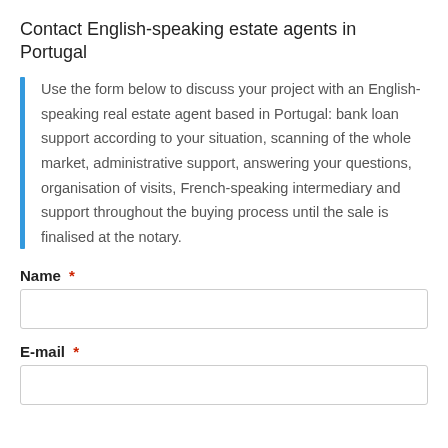Contact English-speaking estate agents in Portugal
Use the form below to discuss your project with an English-speaking real estate agent based in Portugal: bank loan support according to your situation, scanning of the whole market, administrative support, answering your questions, organisation of visits, French-speaking intermediary and support throughout the buying process until the sale is finalised at the notary.
Name *
E-mail *